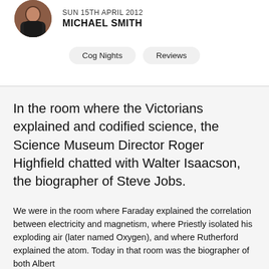[Figure (photo): Circular profile photo of Michael Smith, a man in a dark jacket against a brick background]
SUN 15TH APRIL 2012
MICHAEL SMITH
Cog Nights
Reviews
In the room where the Victorians explained and codified science, the Science Museum Director Roger Highfield chatted with Walter Isaacson, the biographer of Steve Jobs.
We were in the room where Faraday explained the correlation between electricity and magnetism, where Priestly isolated his exploding air (later named Oxygen), and where Rutherford explained the atom. Today in that room was the biographer of both Albert